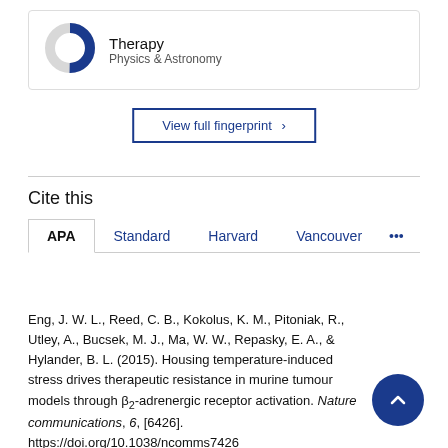[Figure (donut-chart): Donut chart showing Therapy percentage, approximately 75% filled in dark blue, rest gray]
Therapy
Physics & Astronomy
View full fingerprint >
Cite this
APA | Standard | Harvard | Vancouver | ...
Eng, J. W. L., Reed, C. B., Kokolus, K. M., Pitoniak, R., Utley, A., Bucsek, M. J., Ma, W. W., Repasky, E. A., & Hylander, B. L. (2015). Housing temperature-induced stress drives therapeutic resistance in murine tumour models through β₂-adrenergic receptor activation. Nature communications, 6, [6426]. https://doi.org/10.1038/ncomms7426